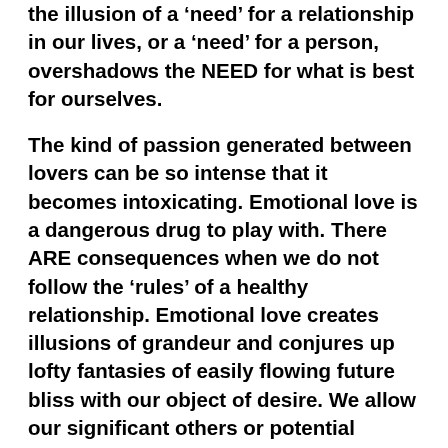the illusion of a 'need' for a relationship in our lives, or a 'need' for a person, overshadows the NEED for what is best for ourselves.
The kind of passion generated between lovers can be so intense that it becomes intoxicating. Emotional love is a dangerous drug to play with. There ARE consequences when we do not follow the 'rules' of a healthy relationship. Emotional love creates illusions of grandeur and conjures up lofty fantasies of easily flowing future bliss with our object of desire. We allow our significant others or potential significant others to fail us when the wishful thinking generated by our fantasies comes head to head with the very different opposing realities and wake up calls of our relationship.
Anything that intoxicates us can harm us. When we are under the influence of our chosen object